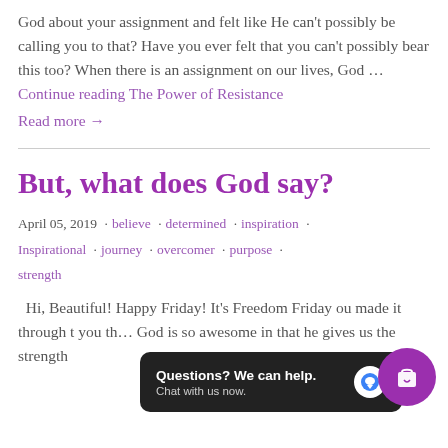God about your assignment and felt like He can't possibly be calling you to that?  Have you ever felt that you can't possibly bear this too? When there is an assignment on our lives, God … Continue reading The Power of Resistance
Read more →
But, what does God say?
April 05, 2019 · believe · determined · inspiration · Inspirational · journey · overcomer · purpose · strength
Hi, Beautiful! Happy Friday! It's Freedom Friday and you made it through … t you th… God is so awesome in that he gives us the strength